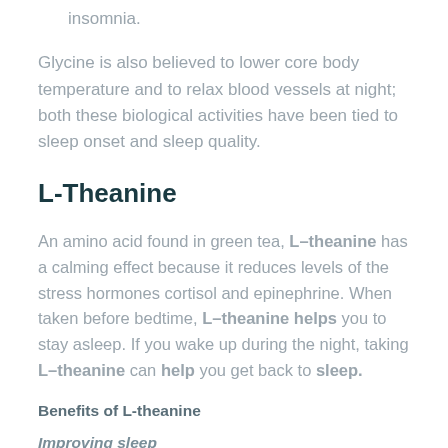insomnia.
Glycine is also believed to lower core body temperature and to relax blood vessels at night; both these biological activities have been tied to sleep onset and sleep quality.
L-Theanine
An amino acid found in green tea, L–theanine has a calming effect because it reduces levels of the stress hormones cortisol and epinephrine. When taken before bedtime, L–theanine helps you to stay asleep. If you wake up during the night, taking L–theanine can help you get back to sleep.
Benefits of L-theanine
Improving sleep
With its ability to increase relaxation and lower stress, L-theanine can help in sleep in a number of ways. L-theanine